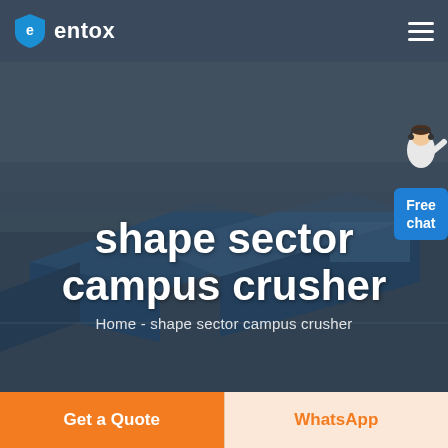entox
[Figure (screenshot): Aerial/3D render of an industrial factory campus with large blue-roofed warehouse buildings, viewed from above at an angle. Dark overlay applied.]
shape sector campus crusher
Home  -  shape sector campus crusher
Get a Quote
WhatsApp